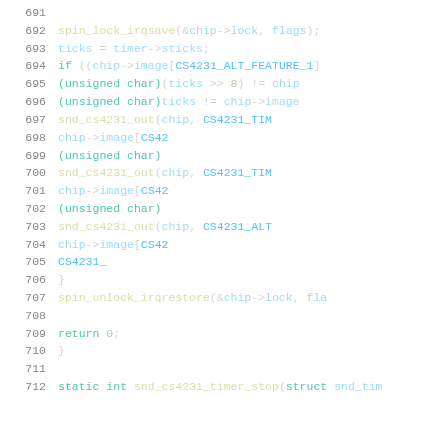[Figure (screenshot): Source code listing showing lines 691-712 of a C source file. The code shows a function body with spin_lock_irqsave, timer access, conditional logic with unsigned char casts, snd_cs4231_out calls, and spin_unlock_irqrestore. Line numbers are shown in gray on the left, with syntax highlighting: keywords in teal, function names in yellow, variables in blue, macros in light blue.]